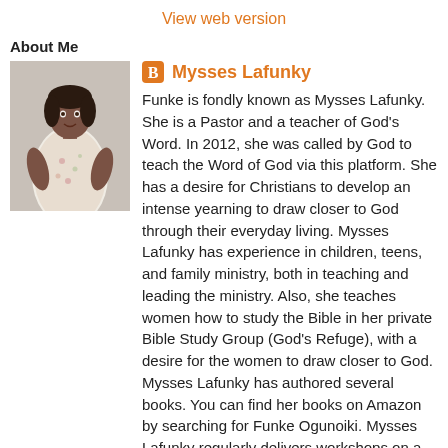View web version
About Me
[Figure (photo): Profile photo of Mysses Lafunky, a woman in a floral outfit]
Mysses Lafunky
Funke is fondly known as Mysses Lafunky. She is a Pastor and a teacher of God's Word. In 2012, she was called by God to teach the Word of God via this platform. She has a desire for Christians to develop an intense yearning to draw closer to God through their everyday living. Mysses Lafunky has experience in children, teens, and family ministry, both in teaching and leading the ministry. Also, she teaches women how to study the Bible in her private Bible Study Group (God's Refuge), with a desire for the women to draw closer to God. Mysses Lafunky has authored several books. You can find her books on Amazon by searching for Funke Ogunoiki. Mysses Lafunky regularly delivers workshops on a number of things such as: keeping children safe from abuse, promoting positive behaviour, parenting and technology, equipping children's church teachers, connecting children with God, understanding the laws in England in relation to safeguarding, and many more. She is a Qualified Social Worker and an Early Childhood Educator with 18 years of working with children & their